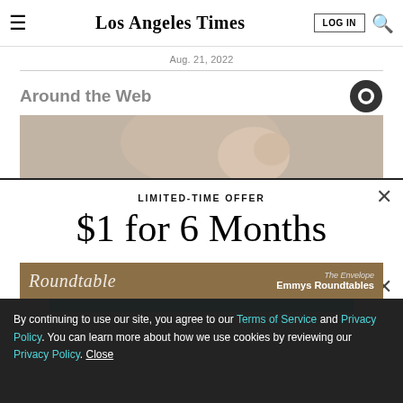Los Angeles Times
Aug. 21, 2022
Around the Web
[Figure (photo): Close-up photo of a person's head/ear area]
LIMITED-TIME OFFER
$1 for 6 Months
SUBSCRIBE NOW
By continuing to use our site, you agree to our Terms of Service and Privacy Policy. You can learn more about how we use cookies by reviewing our Privacy Policy. Close